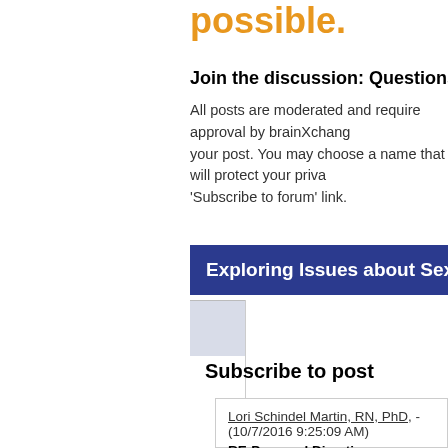possible.
Join the discussion: Questions for us? Comme...
All posts are moderated and require approval by brainXchang... your post. You may choose a name that will protect your priva... 'Subscribe to forum' link.
Exploring Issues about Sexuality & Deme...
Subscribe to post
Lori Schindel Martin, RN, PhD, - (10/7/2016 9:25:09 AM)
RE:Personal Directive
The question you ask is an important one about the use... to make decisions. The document would no longer be v... residents in facility-based care. However, this does no...